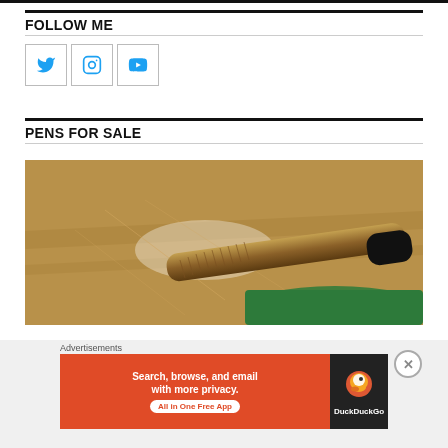FOLLOW ME
[Figure (infographic): Three social media icon boxes: Twitter bird icon, Instagram camera icon, YouTube play button icon, each in a light-bordered square box]
PENS FOR SALE
[Figure (photo): Close-up photo of a pen with textured brown grip and black cap resting on a green surface, on a scratched marble or stone background with light reflections]
Advertisements
[Figure (screenshot): DuckDuckGo advertisement banner: orange left panel with text 'Search, browse, and email with more privacy. All in One Free App', dark right panel with DuckDuckGo duck logo and brand name]